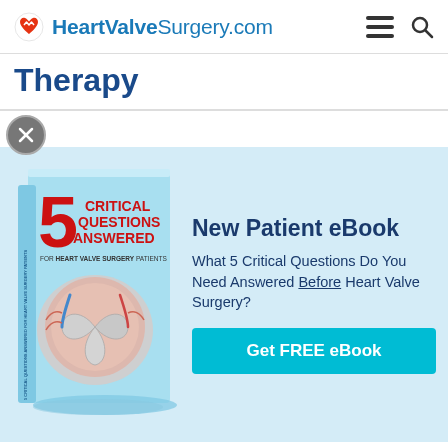HeartValveSurgery.com
Therapy
[Figure (illustration): Book cover: '5 Critical Questions Answered For Heart Valve Surgery Patients' with anatomical heart valve illustration]
New Patient eBook
What 5 Critical Questions Do You Need Answered Before Heart Valve Surgery?
Get FREE eBook